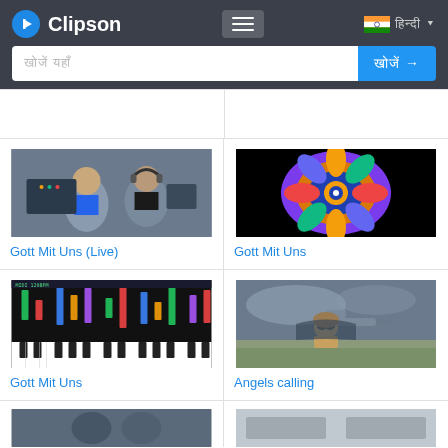Clipson
[Figure (screenshot): Video thumbnail: two men with headphones, music studio setup]
Gott Mit Uns (Live)
[Figure (screenshot): Video thumbnail: colorful psychedelic mandala art on black background]
Gott Mit Uns
[Figure (screenshot): Video thumbnail: piano keyboard with MIDI visualizer bars on dark background]
Gott Mit Uns
[Figure (screenshot): Video thumbnail: animated pilot in cockpit with airplane]
Angels calling